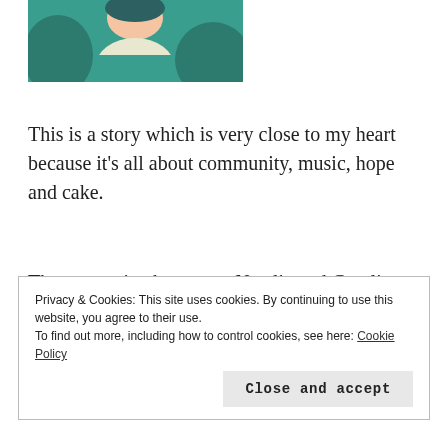[Figure (illustration): Partial illustration of a figure with teal/green clothing and a light-skinned face, cropped at the top of the page]
This is a story which is very close to my heart because it's all about community, music, hope and cake.
The two main characters, Natalie and Caroline are in desperate need of hope.
Privacy & Cookies: This site uses cookies. By continuing to use this website, you agree to their use. To find out more, including how to control cookies, see here: Cookie Policy
Close and accept
Caroline's estranged elderly mother has to move into